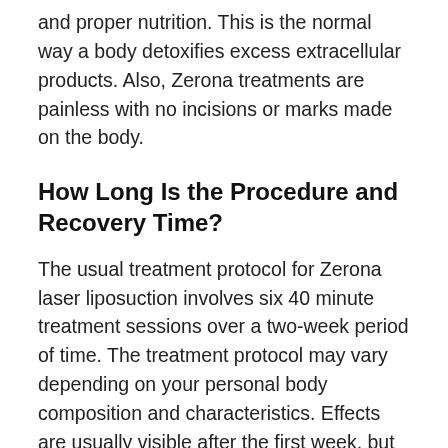and proper nutrition. This is the normal way a body detoxifies excess extracellular products. Also, Zerona treatments are painless with no incisions or marks made on the body.
How Long Is the Procedure and Recovery Time?
The usual treatment protocol for Zerona laser liposuction involves six 40 minute treatment sessions over a two-week period of time. The treatment protocol may vary depending on your personal body composition and characteristics. Effects are usually visible after the first week, but may vary slightly with each individual. Sometimes, the results can be seen immediately. Since the procedure is completely non-invasive and doesn't require any healing, there is no